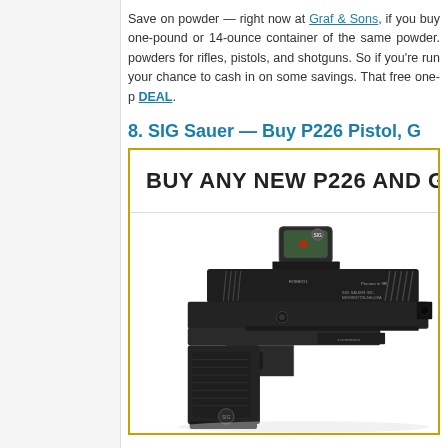Save on powder — right now at Graf & Sons, if you buy one-pound or 14-ounce container of the same powder. powders for rifles, pistols, and shotguns. So if you're run your chance to cash in on some savings. That free one-p DEAL.
8. SIG Sauer — Buy P226 Pistol, G
[Figure (photo): Promotional image for SIG Sauer P226 pistol deal. Shows a black SIG Sauer P226 pistol with a red dot sight mounted on the slide. Text banner above reads 'BUY ANY NEW P226 AND G'. The image is inside a gold/yellow bordered box.]